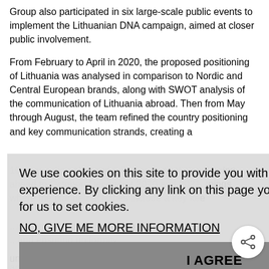Group also participated in six large-scale public events to implement the Lithuanian DNA campaign, aimed at closer public involvement.
From February to April in 2020, the proposed positioning of Lithuania was analysed in comparison to Nordic and Central European brands, along with SWOT analysis of the communication of Lithuania abroad. Then from May through August, the team refined the country positioning and key communication strands, creating a 10-year action plan and a 3-year tactical plan. Looking ahead to October–December 2020 and 2021, the planned activities include a number of key meetings where the...
We use cookies on this site to provide you with the best possible online experience. By clicking any link on this page you are giving your consent for us to set cookies.
NO, GIVE ME MORE INFORMATION
I AGREE
uniform, synchronised presentation of Lithuania abroad.